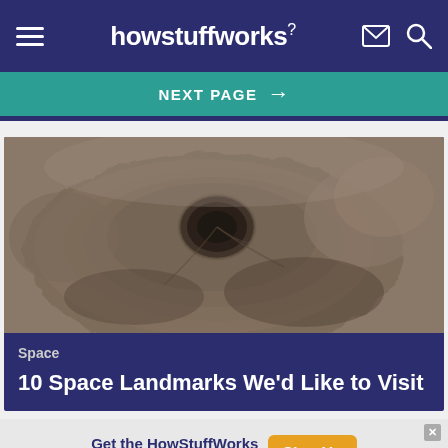howstuffworks
NEXT PAGE →
[Figure (photo): Aerial or satellite view of a large volcanic structure or crater on Mars or another planetary body, showing rugged terrain with a central caldera, in brownish-gray tones.]
Space
10 Space Landmarks We'd Like to Visit
Get the HowStuffWorks Newsletter! Sign Up